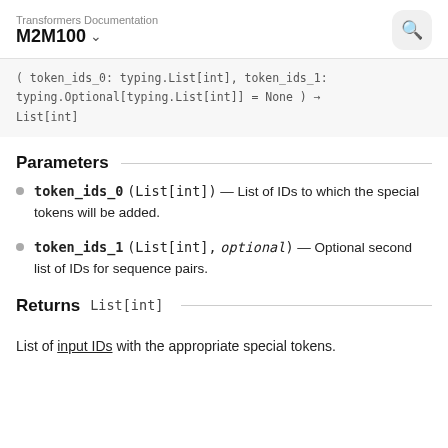Transformers Documentation M2M100
( token_ids_0: typing.List[int], token_ids_1: typing.Optional[typing.List[int]] = None ) → List[int]
Parameters
token_ids_0 (List[int]) — List of IDs to which the special tokens will be added.
token_ids_1 (List[int], optional) — Optional second list of IDs for sequence pairs.
Returns   List[int]
List of input IDs with the appropriate special tokens.